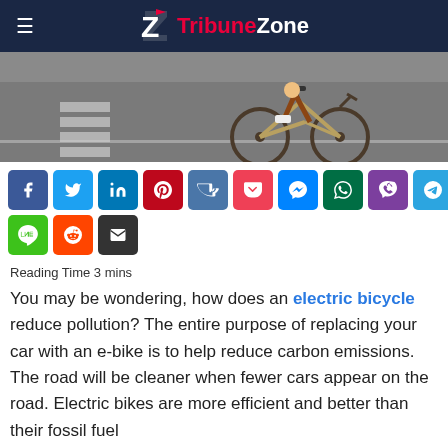TribuneZone
[Figure (photo): Cyclist riding a bicycle on a road with a crosswalk visible]
[Figure (infographic): Social media share buttons: Facebook, Twitter, LinkedIn, Pinterest, VK, Pocket, Messenger, WhatsApp, Viber, Telegram, Line, Reddit, Email]
Reading Time 3 mins
You may be wondering, how does an electric bicycle reduce pollution? The entire purpose of replacing your car with an e-bike is to help reduce carbon emissions. The road will be cleaner when fewer cars appear on the road. Electric bikes are more efficient and better than their fossil fuel